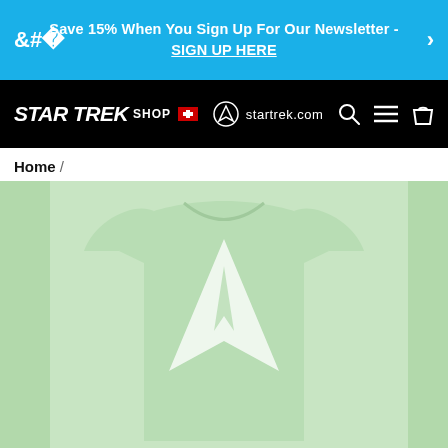Save 15% When You Sign Up For Our Newsletter - SIGN UP HERE
[Figure (screenshot): Star Trek Shop navigation bar with logo, startrek.com link, search, menu, and cart icons]
Home /
[Figure (photo): Light green Star Trek t-shirt with white Starfleet delta/insignia logo on the front, shown on a white background with light green side panels]